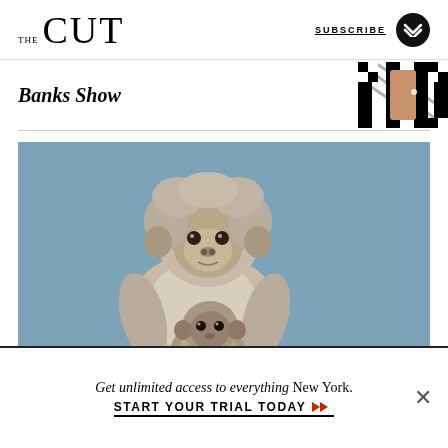THE CUT | SUBSCRIBE
Banks Show
[Figure (photo): Thumbnail image in upper right showing a person in black and white checkered/striped pattern clothing]
[Figure (photo): Large photograph of an adult monkey hugging a baby monkey against a blue-gray textured background]
Get unlimited access to everything New York.
START YOUR TRIAL TODAY ➤➤